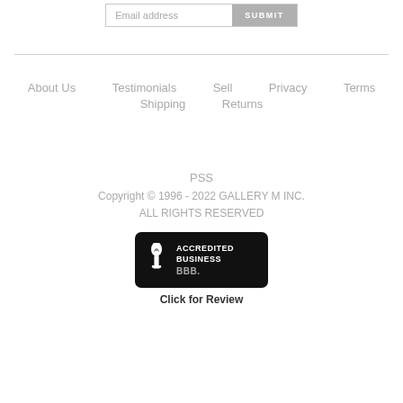Email address  SUBMIT
About Us
Testimonials
Sell
Privacy
Terms
Shipping
Returns
PSS
Copyright © 1996 - 2022 GALLERY M INC.
ALL RIGHTS RESERVED
[Figure (logo): BBB Accredited Business badge with torch logo and text 'ACCREDITED BUSINESS' and 'BBB.' below, with 'Click for Review' caption]